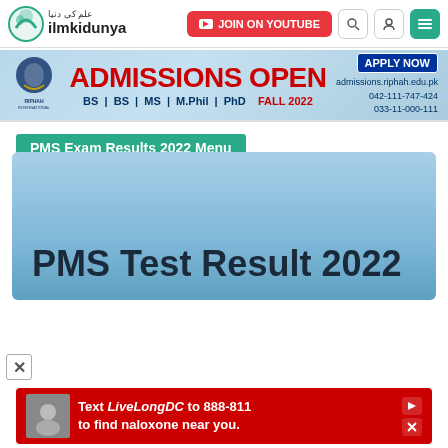[Figure (screenshot): ilmkidunya website header navigation bar with logo, YouTube join button, search and menu icons]
[Figure (infographic): Riphah International University admissions open banner for Fall 2022 showing BS, MS, M.Phil, PhD programs with apply now button and contact information]
PMS Exam Results 2022 Menu
PMS Test Result 2022
[Figure (infographic): Red advertisement banner: Text LiveLongDC to 888-811 to find naloxone near you.]